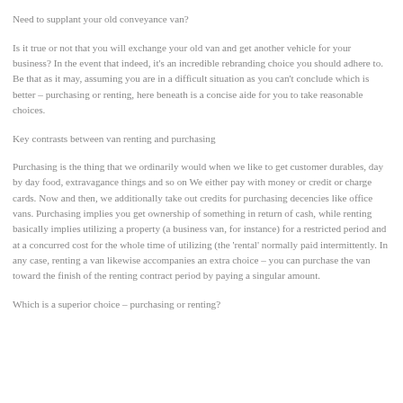for business, either by purchasing or through van renting organizations.
Need to supplant your old conveyance van?
Is it true or not that you will exchange your old van and get another vehicle for your business? In the event that indeed, it’s an incredible rebranding choice you should adhere to. Be that as it may, assuming you are in a difficult situation as you can’t conclude which is better – purchasing or renting, here beneath is a concise aide for you to take reasonable choices.
Key contrasts between van renting and purchasing
Purchasing is the thing that we ordinarily would when we like to get customer durables, day by day food, extravagance things and so on We either pay with money or credit or charge cards. Now and then, we additionally take out credits for purchasing decencies like office vans. Purchasing implies you get ownership of something in return of cash, while renting basically implies utilizing a property (a business van, for instance) for a restricted period and at a concurred cost for the whole time of utilizing (the ‘rental’ normally paid intermittently. In any case, renting a van likewise accompanies an extra choice – you can purchase the van toward the finish of the renting contract period by paying a singular amount.
Which is a superior choice – purchasing or renting?